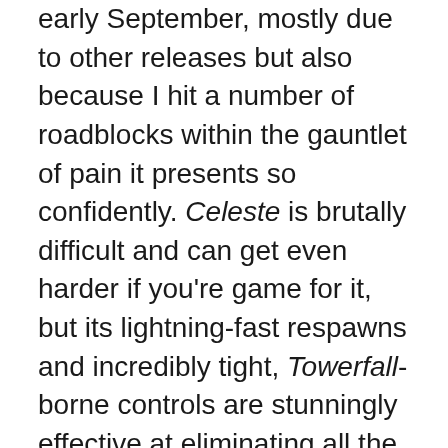early September, mostly due to other releases but also because I hit a number of roadblocks within the gauntlet of pain it presents so confidently. Celeste is brutally difficult and can get even harder if you're game for it, but its lightning-fast respawns and incredibly tight, Towerfall-borne controls are stunningly effective at eliminating all the negatives from that pitch. And it's not as if the gameplay is the only thing worth writing home about. Lena Raine's superb synth score is a treat to enjoy outside the game, but within the context of our heroine Madeleine's ascent up the eponymous Celeste mountain, it combines with some wonderfully